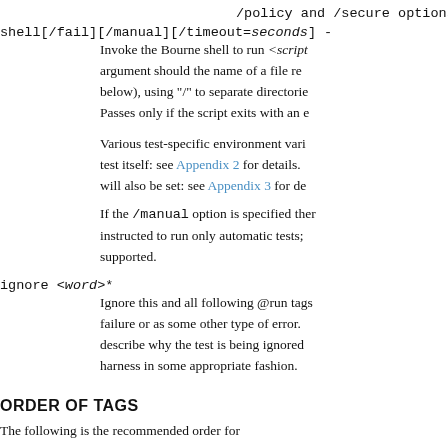/policy and /secure options should
shell[/fail][/manual][/timeout=<seconds>] - Invoke the Bourne shell to run <script> argument should the name of a file re below), using "/" to separate directorie Passes only if the script exits with an e
Various test-specific environment vari test itself: see Appendix 2 for details. will also be set: see Appendix 3 for de
If the /manual option is specified ther instructed to run only automatic tests; supported.
ignore <word>* Ignore this and all following @run tags failure or as some other type of error. describe why the test is being ignored harness in some appropriate fashion.
ORDER OF TAGS
The following is the recommended order for
@test